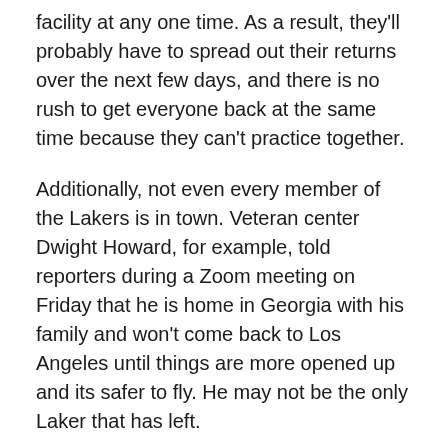facility at any one time. As a result, they'll probably have to spread out their returns over the next few days, and there is no rush to get everyone back at the same time because they can't practice together.
Additionally, not even every member of the Lakers is in town. Veteran center Dwight Howard, for example, told reporters during a Zoom meeting on Friday that he is home in Georgia with his family and won't come back to Los Angeles until things are more opened up and its safer to fly. He may not be the only Laker that has left.
But despite those caveats, this is a good step in the right direction as the NBA attempts to move closer to a return to play. It remains to be seen what the league's next moves will be, but presumably if this step goes well and a return-to-play plan can be agreed